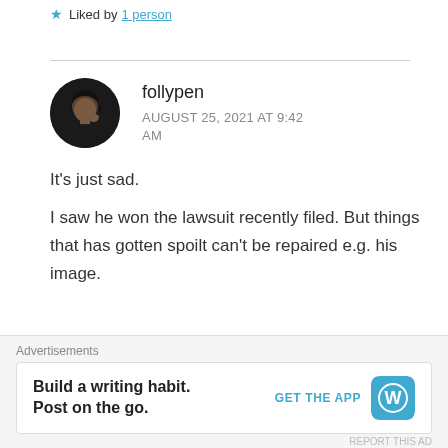Liked by 1 person
[Figure (photo): Circular avatar photo of user follypen — a person with short hair, looking slightly to the side]
follypen
AUGUST 25, 2021 AT 9:42 AM
It's just sad.
I saw he won the lawsuit recently filed. But things that has gotten spoilt can't be repaired e.g. his image.
Liked by 2 people
Advertisements
Build a writing habit. Post on the go.
GET THE APP